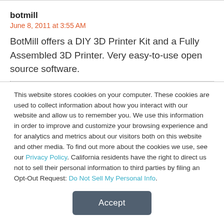botmill
June 8, 2011 at 3:55 AM
BotMill offers a DIY 3D Printer Kit and a Fully Assembled 3D Printer. Very easy-to-use open source software.
This website stores cookies on your computer. These cookies are used to collect information about how you interact with our website and allow us to remember you. We use this information in order to improve and customize your browsing experience and for analytics and metrics about our visitors both on this website and other media. To find out more about the cookies we use, see our Privacy Policy. California residents have the right to direct us not to sell their personal information to third parties by filing an Opt-Out Request: Do Not Sell My Personal Info.
Accept